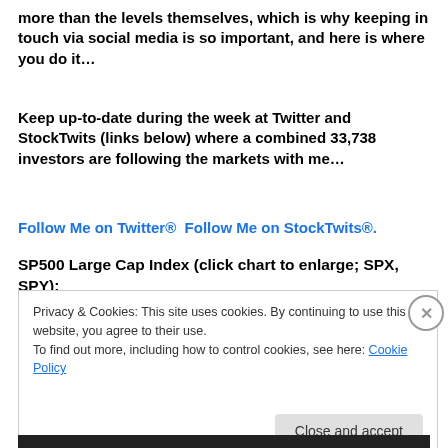more than the levels themselves, which is why keeping in touch via social media is so important, and here is where you do it…
Keep up-to-date during the week at Twitter and StockTwits (links below) where a combined 33,738 investors are following the markets with me…
Follow Me on Twitter®  Follow Me on StockTwits®.
SP500 Large Cap Index (click chart to enlarge; SPX, SPY):
Privacy & Cookies: This site uses cookies. By continuing to use this website, you agree to their use.
To find out more, including how to control cookies, see here: Cookie Policy
Close and accept